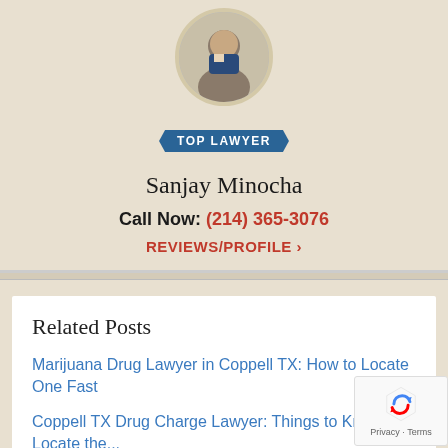[Figure (photo): Headshot photo of Sanjay Minocha in a circular frame]
TOP LAWYER
Sanjay Minocha
Call Now: (214) 365-3076
REVIEWS/PROFILE >
Related Posts
Marijuana Drug Lawyer in Coppell TX: How to Locate One Fast
Coppell TX Drug Charge Lawyer: Things to Know to Locate the...
Coppell TX Drug Possession Lawyer: 4 Traits Yours Needs To...